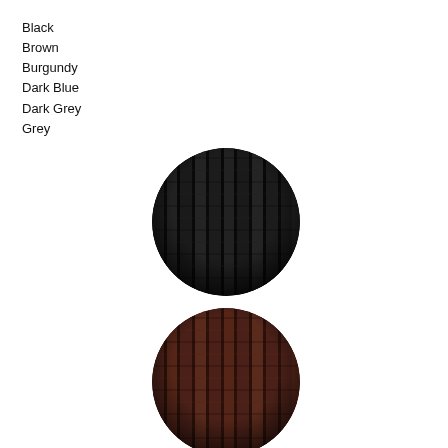Black
Brown
Burgundy
Dark Blue
Dark Grey
Grey
[Figure (photo): Close-up circular swatch of black braided/woven textile cord showing vertical ribbed texture]
[Figure (photo): Close-up circular swatch of brown/dark brown braided/woven textile cord showing vertical ribbed texture]